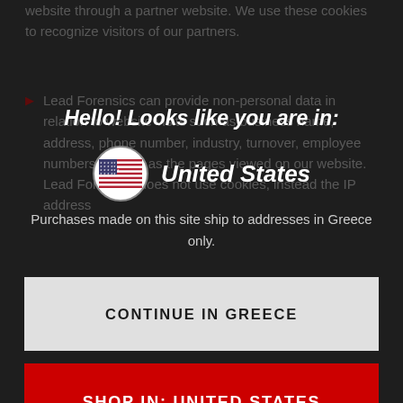website through a partner website. We use these cookies to recognize visitors of our partners.
Lead Forensics can provide non-personal data in relation to website visits such as business name, address, phone number, industry, turnover, employee numbers, as well as the pages viewed on our website. Lead Forensics does not use cookies, instead the IP address
Hello! Looks like you are in:
[Figure (infographic): US flag circle icon with text 'United States']
Purchases made on this site ship to addresses in Greece only.
Yahoo! Japan: Yahoo! Japan ads is a service from Yahoo! Japan that allows you to display ads in the
CONTINUE IN GREECE
SHOP IN: UNITED STATES
terms of what they do, how long tracking is stored in your